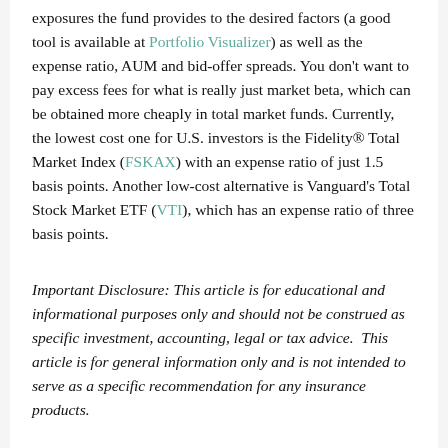exposures the fund provides to the desired factors (a good tool is available at Portfolio Visualizer) as well as the expense ratio, AUM and bid-offer spreads. You don't want to pay excess fees for what is really just market beta, which can be obtained more cheaply in total market funds. Currently, the lowest cost one for U.S. investors is the Fidelity® Total Market Index (FSKAX) with an expense ratio of just 1.5 basis points. Another low-cost alternative is Vanguard's Total Stock Market ETF (VTI), which has an expense ratio of three basis points.
Important Disclosure: This article is for educational and informational purposes only and should not be construed as specific investment, accounting, legal or tax advice.  This article is for general information only and is not intended to serve as a specific recommendation for any insurance products.